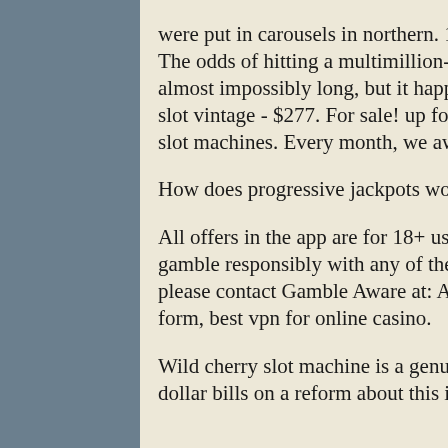were put in carousels in northern. 1984 - bally develops its first video poker machine. The odds of hitting a multimillion-dollar jackpot on a las vegas slot machine are almost impossibly long, but it happens. 2 bally slot machines 1 dollar &amp; 1 nickel slot vintage - $277. For sale! up for auction are two non working vintage bally casino slot machines. Every month, we award thousands of dollars in jackpots!
How does progressive jackpots work, ballies dollar slot machine.
All offers in the app are for 18+ users only, in permitted locations. We urge users to gamble responsibly with any of the sites: For gambling addiction help and support, please contact Gamble Aware at: APKDom. Slot machines - excitement in its purest form, best vpn for online casino.
Wild cherry slot machine is a genuine bally slot featuring $1-$5-$10-$20-$50-$100 dollar bills on a reform about this is really nice big